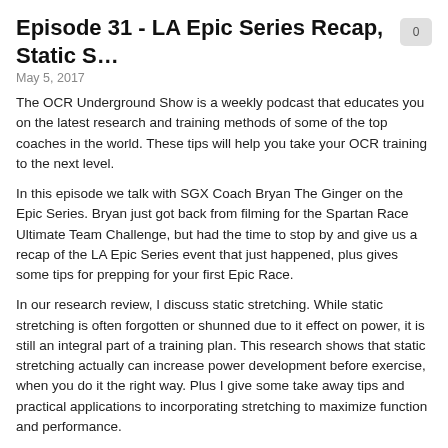Episode 31 - LA Epic Series Recap, Static S…
May 5, 2017
The OCR Underground Show is a weekly podcast that educates you on the latest research and training methods of some of the top coaches in the world.  These tips will help you take your OCR training to the next level.
In this episode we talk with SGX Coach Bryan The Ginger on the Epic Series.  Bryan just got back from filming for the Spartan Race Ultimate Team Challenge, but had the time to stop by and give us a recap of the LA Epic Series event that just happened, plus gives some tips for prepping for your first Epic Race.
In our research review, I discuss static stretching.  While static stretching is often forgotten or shunned due to it effect on power, it is still an integral part of a training plan.  This research shows that static stretching actually can increase power development before exercise, when you do it the right way.  Plus I give some take away tips and practical applications to incorporating stretching to maximize function and performance.
And in our Coaches's Corner we have on SGX Coach and elite racer Mike Confer from MROC training in Oceanside, CA.  MROC is a unique training facility that have many obstacles you would find in a typical OCR race plus some things you would see on American Ninja Warrior.  While they specialize in OCR training they work with any individuals looking to improve their health and move better.